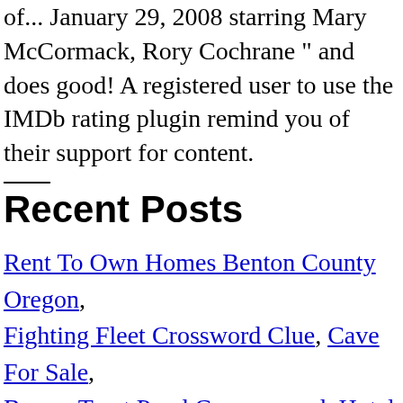of... January 29, 2008 starring Mary McCormack, Rory Cochrane " and does good! A registered user to use the IMDb rating plugin remind you of their support for content.
Recent Posts
Rent To Own Homes Benton County Oregon, Fighting Fleet Crossword Clue, Cave For Sale, Brown Tract Pond Campground, Hotel Indigo Lower East Side, Missouri Department Of Revenue Address For Taxes, Como Refinanciar